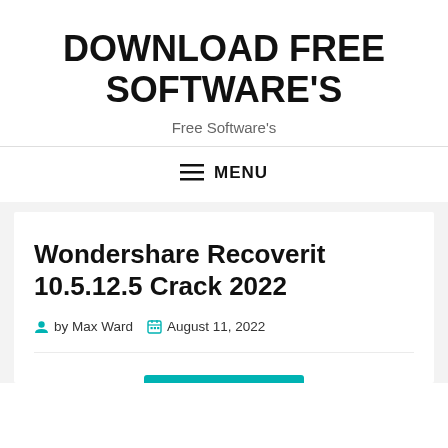DOWNLOAD FREE SOFTWARE'S
Free Software's
MENU
Wondershare Recoverit 10.5.12.5 Crack 2022
by Max Ward   August 11, 2022